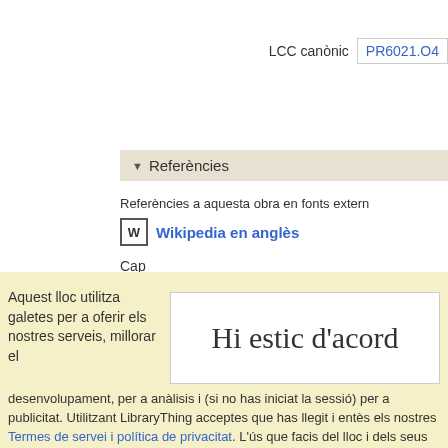LCC canònic  PR6021.O4
▼  Referències
Referències a aquesta obra en fonts extern
W  Wikipedia en anglès
Cap
Aquest lloc utilitza galetes per a oferir els nostres serveis, millorar el desenvolupament, per a anàlisis i (si no has iniciat la sessió) per a publicitat. Utilitzant LibraryThing acceptes que has llegit i entès els nostres Termes de servei i política de privacitat. L'ús que facis del lloc i dels seus serveis està subjecte a aquestes polítiques i termes.
Hi estic d'acord